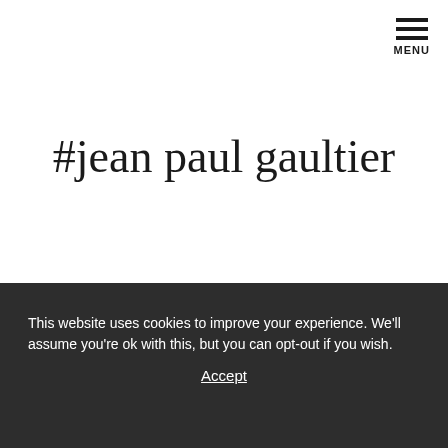MENU
#jean paul gaultier
This website uses cookies to improve your experience. We'll assume you're ok with this, but you can opt-out if you wish. Accept